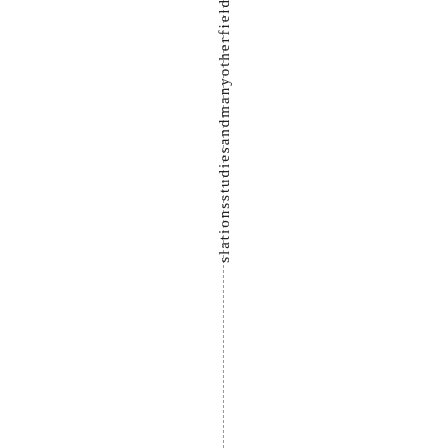s l a t i o n s s t u d i e s a n d m a n y o t h e r f i e l d